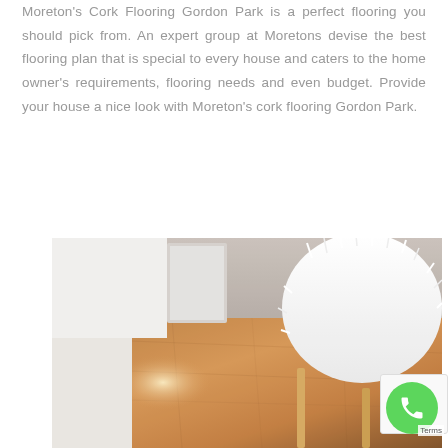Moreton's Cork Flooring Gordon Park is a perfect flooring you should pick from. An expert group at Moretons devise the best flooring plan that is special to every house and caters to the home owner's requirements, flooring needs and even budget. Provide your house a nice look with Moreton's cork flooring Gordon Park.
[Figure (photo): Interior room photo showing cork flooring with warm brown tones, a white fluffy chair cushion or sheepskin rug draped over a wooden chair frame, white furniture on the left, and natural sunlight casting a bright patch on the cork floor.]